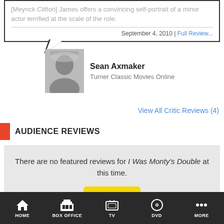[Meynck Clifton] James offers a convincing self-portrait of a minor actor terrified at the scale of the role.
September 4, 2010 | Full Review...
Sean Axmaker
Turner Classic Movies Online
View All Critic Reviews (4)
AUDIENCE REVIEWS
There are no featured reviews for I Was Monty's Double at this time.
Rate it!
View All
HOME  BOX OFFICE  TV  DVD  MORE